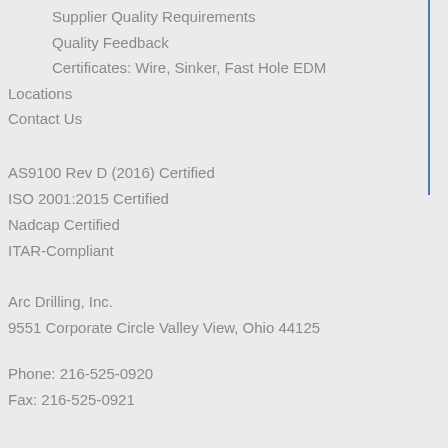Supplier Quality Requirements
Quality Feedback
Certificates: Wire, Sinker, Fast Hole EDM
Locations
Contact Us
AS9100 Rev D (2016) Certified
ISO 2001:2015 Certified
Nadcap Certified
ITAR-Compliant
Arc Drilling, Inc.
9551 Corporate Circle Valley View, Ohio 44125
Phone: 216-525-0920
Fax: 216-525-0921